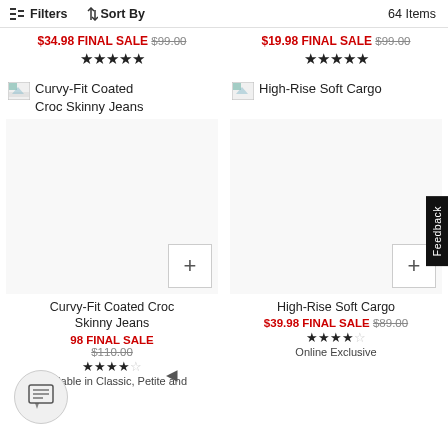Filters  Sort By  64 Items
$34.98 FINAL SALE $99.00 ★★★★★
$19.98 FINAL SALE $99.00 ★★★★★
[Figure (photo): Small thumbnail placeholder image for Curvy-Fit Coated Croc Skinny Jeans]
Curvy-Fit Coated Croc Skinny Jeans
[Figure (photo): Small thumbnail placeholder image for High-Rise Soft Cargo]
High-Rise Soft Cargo
[Figure (photo): Large product image area with + button for Curvy-Fit Coated Croc Skinny Jeans]
Curvy-Fit Coated Croc Skinny Jeans
$34.98 FINAL SALE $110.00 ★★★★☆ Available in Classic, Petite and
[Figure (photo): Large product image area with + button for High-Rise Soft Cargo]
High-Rise Soft Cargo
$39.98 FINAL SALE $89.00 ★★★★☆ Online Exclusive